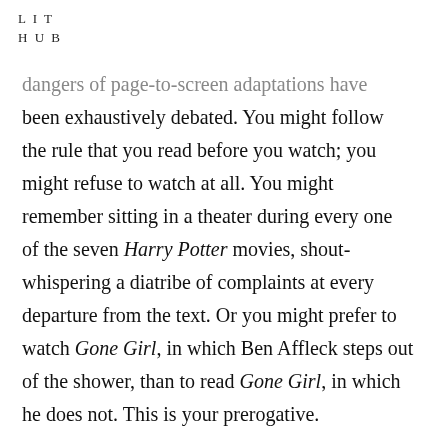LIT
HUB
dangers of page-to-screen adaptations have been exhaustively debated. You might follow the rule that you read before you watch; you might refuse to watch at all. You might remember sitting in a theater during every one of the seven Harry Potter movies, shout-whispering a diatribe of complaints at every departure from the text. Or you might prefer to watch Gone Girl, in which Ben Affleck steps out of the shower, than to read Gone Girl, in which he does not. This is your prerogative.
If you’re open to advice, though, here’s how you should watch Brooklyn, John Crowley’s